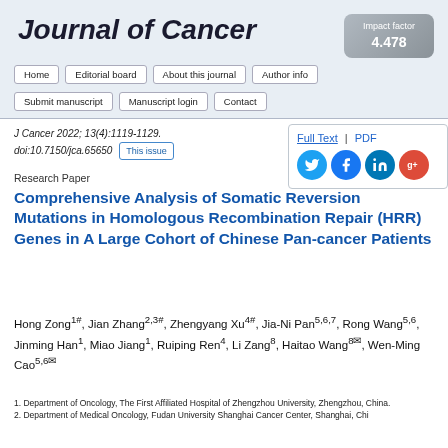Journal of Cancer
Impact factor 4.478
Home | Editorial board | About this journal | Author info | Submit manuscript | Manuscript login | Contact
J Cancer 2022; 13(4):1119-1129. doi:10.7150/jca.65650   This issue
Full Text | PDF
Research Paper
Comprehensive Analysis of Somatic Reversion Mutations in Homologous Recombination Repair (HRR) Genes in A Large Cohort of Chinese Pan-cancer Patients
Hong Zong1#, Jian Zhang2,3#, Zhengyang Xu4#, Jia-Ni Pan5,6,7, Rong Wang5,6, Jinming Han1, Miao Jiang1, Ruiping Ren4, Li Zang8, Haitao Wang8✉, Wen-Ming Cao5,6✉
1. Department of Oncology, The First Affiliated Hospital of Zhengzhou University, Zhengzhou, China.
2. Department of Medical Oncology, Fudan University Shanghai Cancer Center, Shanghai, China.